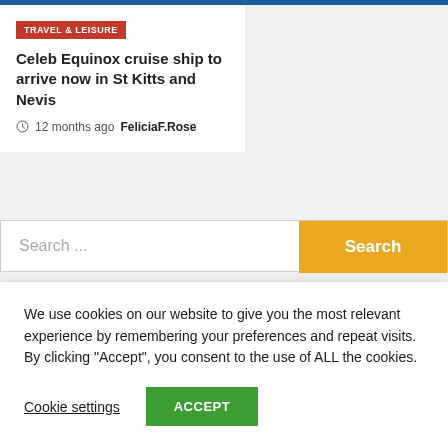TRAVEL & LEISURE
Celeb Equinox cruise ship to arrive now in St Kitts and Nevis
12 months ago  FeliciaF.Rose
Search ...
Recent Posts
We use cookies on our website to give you the most relevant experience by remembering your preferences and repeat visits. By clicking “Accept”, you consent to the use of ALL the cookies.
Cookie settings
ACCEPT